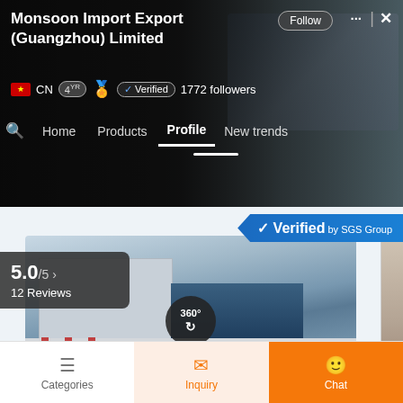[Figure (screenshot): Company profile header on Alibaba-style B2B platform showing Monsoon Import Export (Guangzhou) Limited with Follow button, navigation bar with Home/Products/Profile/New trends tabs, CN flag, 4yr badge, gold supplier badge, Verified badge, 1772 followers]
Monsoon Import Export (Guangzhou) Limited
CN 4yr Verified 1772 followers
[Figure (photo): Warehouse building exterior photo with 360 degree view button, showing industrial building with glass facade, image counter showing 360:1, photos:10, video:1]
Verified by SGS Group
5.0/5 > 12 Reviews
[Figure (screenshot): Bottom navigation bar with Categories, Inquiry (highlighted in orange), and Chat (orange background) tabs]